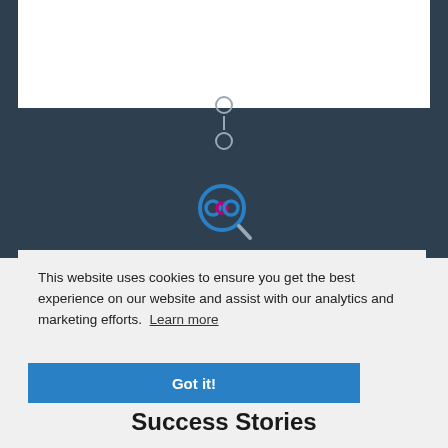[Figure (logo): POP search logo icon — two circles (blue and magenta/pink) inside a magnifying glass with blue outline and grey handle]
This website uses cookies to ensure you get the best experience on our website and assist with our analytics and marketing efforts.  Learn more
Got it!
Success Stories